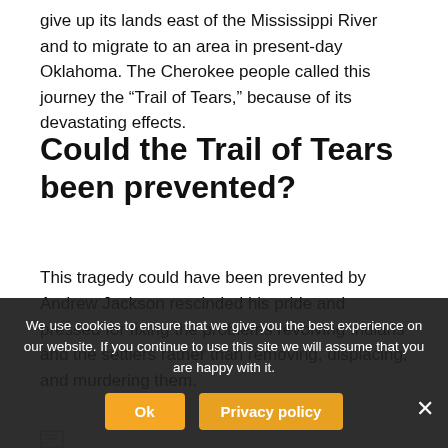give up its lands east of the Mississippi River and to migrate to an area in present-day Oklahoma. The Cherokee people called this journey the “Trail of Tears,” because of its devastating effects.
Could the Trail of Tears been prevented?
This tragedy could have been prevented by Andrew Jackson rescinded his pride and pressed for fixing the problems revolving Indians and the settlers rather than removing, displacing, and murdering them.
[Figure (other): Small document/image icon placeholder at bottom of content area]
We use cookies to ensure that we give you the best experience on our website. If you continue to use this site we will assume that you are happy with it.